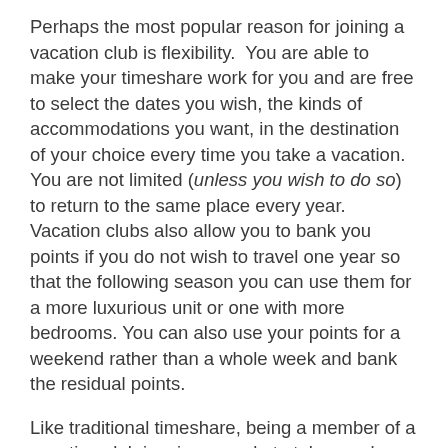Perhaps the most popular reason for joining a vacation club is flexibility.  You are able to make your timeshare work for you and are free to select the dates you wish, the kinds of accommodations you want, in the destination of your choice every time you take a vacation. You are not limited (unless you wish to do so) to return to the same place every year. Vacation clubs also allow you to bank you points if you do not wish to travel one year so that the following season you can use them for a more luxurious unit or one with more bedrooms. You can also use your points for a weekend rather than a whole week and bank the residual points.
Like traditional timeshare, being a member of a vacation club inspires people to take regular vacations. So, if you are the kind of person who misses out on great trips because you never seem to get motivated to travel, joining a vacation club spurs